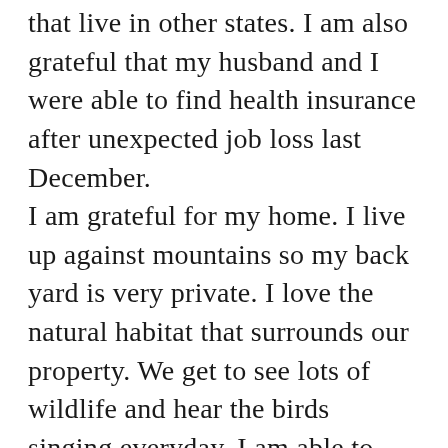that live in other states. I am also grateful that my husband and I were able to find health insurance after unexpected job loss last December. I am grateful for my home. I live up against mountains so my back yard is very private. I love the natural habitat that surrounds our property. We get to see lots of wildlife and hear the birds singing everyday. I am able to work outside and forget about all that goes on in this crazy country for a little while.